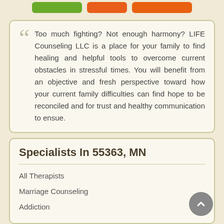[Figure (other): Three navigation buttons at top: green button, orange button, orange-red button]
Too much fighting? Not enough harmony? LIFE Counseling LLC is a place for your family to find healing and helpful tools to overcome current obstacles in stressful times. You will benefit from an objective and fresh perspective toward how your current family difficulties can find hope to be reconciled and for trust and healthy communication to ensue.
Specialists In 55363, MN
All Therapists
Marriage Counseling
Addiction